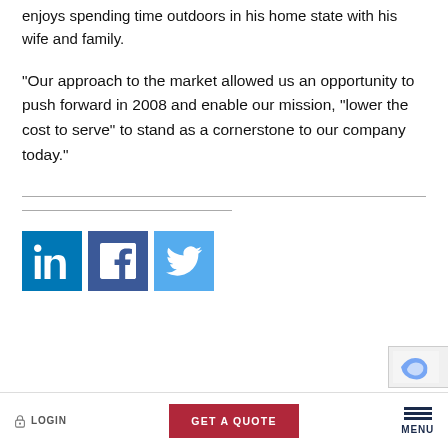enjoys spending time outdoors in his home state with his wife and family.
“Our approach to the market allowed us an opportunity to push forward in 2008 and enable our mission, “lower the cost to serve” to stand as a cornerstone to our company today.”
[Figure (other): Three social media icons: LinkedIn (blue), Facebook (dark blue), Twitter (light blue)]
LOGIN | GET A QUOTE | MENU